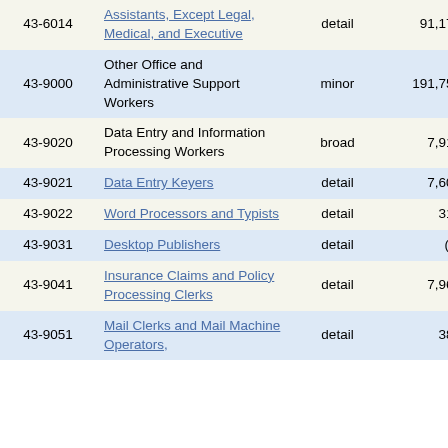| Code | Occupation | Level | Employment | ... |
| --- | --- | --- | --- | --- |
| 43-6014 | Assistants, Except Legal, Medical, and Executive | detail | 91,170 | 10. |
| 43-9000 | Other Office and Administrative Support Workers | minor | 191,750 | 1. |
| 43-9020 | Data Entry and Information Processing Workers | broad | 7,910 | 10. |
| 43-9021 | Data Entry Keyers | detail | 7,600 | 11. |
| 43-9022 | Word Processors and Typists | detail | 310 | 27. |
| 43-9031 | Desktop Publishers | detail | (8) |  |
| 43-9041 | Insurance Claims and Policy Processing Clerks | detail | 7,960 | 6. |
| 43-9051 | Mail Clerks and Mail Machine Operators, | detail | 380 | 15. |